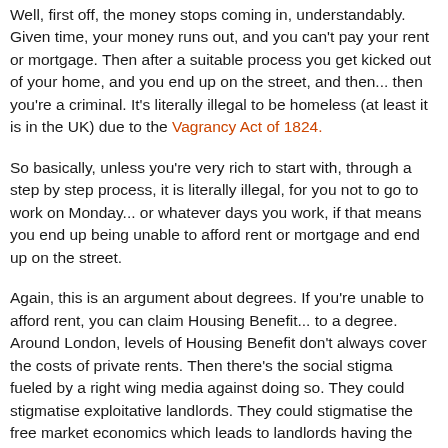Well, first off, the money stops coming in, understandably. Given time, your money runs out, and you can't pay your rent or mortgage. Then after a suitable process you get kicked out of your home, and you end up on the street, and then... then you're a criminal. It's literally illegal to be homeless (at least it is in the UK) due to the Vagrancy Act of 1824.
So basically, unless you're very rich to start with, through a step by step process, it is literally illegal, for you not to go to work on Monday... or whatever days you work, if that means you end up being unable to afford rent or mortgage and end up on the street.
Again, this is an argument about degrees. If you're unable to afford rent, you can claim Housing Benefit... to a degree. Around London, levels of Housing Benefit don't always cover the costs of private rents. Then there's the social stigma fueled by a right wing media against doing so. They could stigmatise exploitative landlords. They could stigmatise the free market economics which leads to landlords having the ability to charge such high rents... but capitalists will always rather stigmatise those who are of no use to them, because they are simply unable to pay. Social stigma is a handy tool.